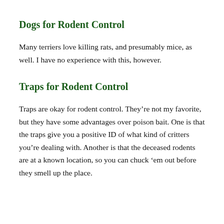Dogs for Rodent Control
Many terriers love killing rats, and presumably mice, as well. I have no experience with this, however.
Traps for Rodent Control
Traps are okay for rodent control. They’re not my favorite, but they have some advantages over poison bait. One is that the traps give you a positive ID of what kind of critters you’re dealing with. Another is that the deceased rodents are at a known location, so you can chuck ’em out before they smell up the place.